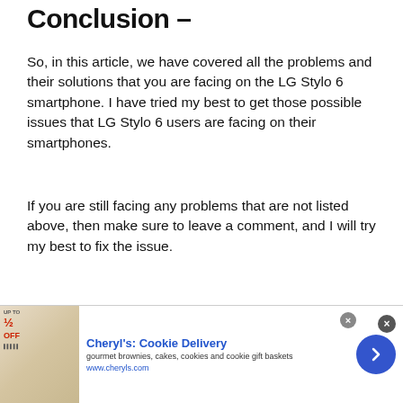Conclusion –
So, in this article, we have covered all the problems and their solutions that you are facing on the LG Stylo 6 smartphone. I have tried my best to get those possible issues that LG Stylo 6 users are facing on their smartphones.
If you are still facing any problems that are not listed above, then make sure to leave a comment, and I will try my best to fix the issue.
See you in the next guide 🙂 Cheers
[Figure (other): Advertisement banner for Cheryl's Cookie Delivery showing gourmet brownies, cakes, cookies and cookie gift baskets at www.cheryls.com with a blue arrow button and close (X) button.]